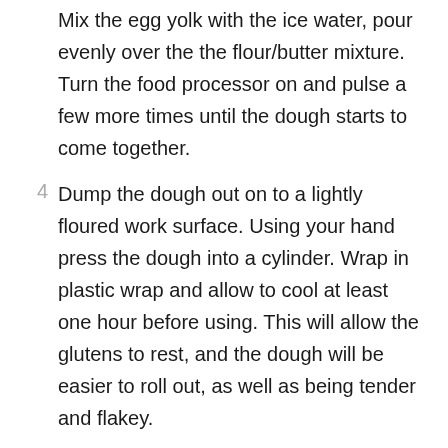Mix the egg yolk with the ice water, pour evenly over the the flour/butter mixture. Turn the food processor on and pulse a few more times until the dough starts to come together.
4 Dump the dough out on to a lightly floured work surface. Using your hand press the dough into a cylinder. Wrap in plastic wrap and allow to cool at least one hour before using. This will allow the glutens to rest, and the dough will be easier to roll out, as well as being tender and flakey.
5 The dough may also be frozen. I often seal